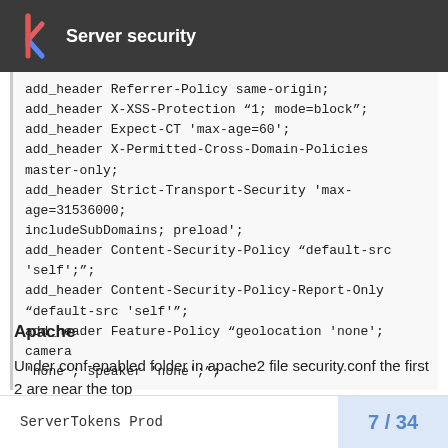Server security
add_header Referrer-Policy same-origin;
add_header X-XSS-Protection "1; mode=block";
add_header Expect-CT 'max-age=60';
add_header X-Permitted-Cross-Domain-Policies master-only;
add_header Strict-Transport-Security 'max-age=31536000; includeSubDomains; preload';
add_header Content-Security-Policy "default-src 'self';";
add_header Content-Security-Policy-Report-Only "default-src 'self'";
add_header Feature-Policy "geolocation 'none'; camera 'none'; speaker 'none';";
Apache
Under conf-enabled folder in apache2 file security.conf the first 2 are near the top
ServerTokens Prod
7 / 34